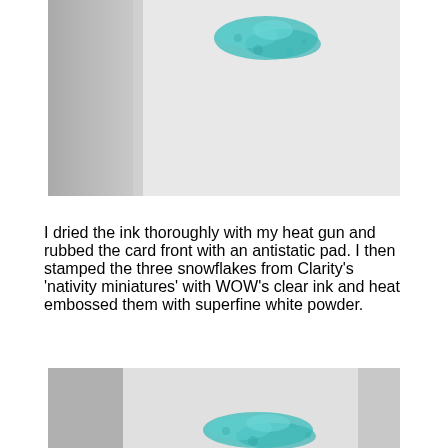[Figure (photo): Photo of a white card with teal/turquoise ink blob stamped on it, card folded or propped at an angle against a grey background]
I dried the ink thoroughly with my heat gun and rubbed the card front with an antistatic pad. I then stamped the three snowflakes from Clarity's 'nativity miniatures' with WOW's clear ink and heat embossed them with superfine white powder.
[Figure (photo): Photo of a white card with teal/turquoise ink blob stamped on it, partially visible, card on grey surface]